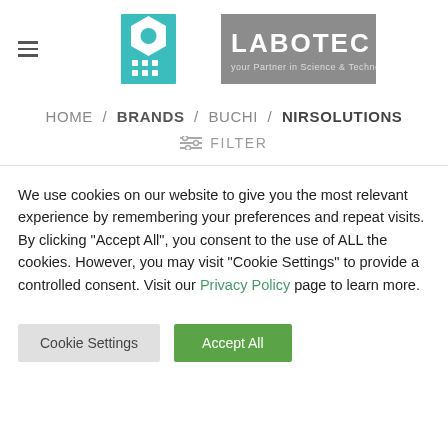[Figure (logo): Labotec logo with teal/grey icon and text 'LABOTEC Your Partner in Science & Technology']
HOME / BRANDS / BUCHI / NIRSOLUTIONS
≡ FILTER
We use cookies on our website to give you the most relevant experience by remembering your preferences and repeat visits. By clicking "Accept All", you consent to the use of ALL the cookies. However, you may visit "Cookie Settings" to provide a controlled consent. Visit our Privacy Policy page to learn more.
Cookie Settings
Accept All